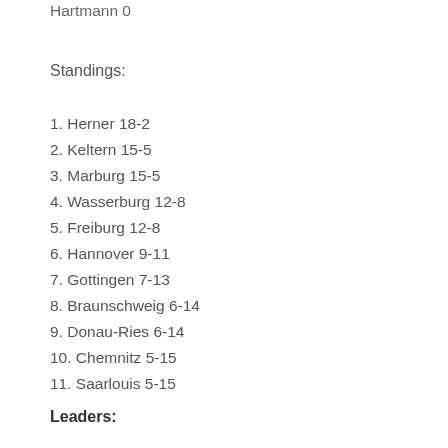Hartmann 0
Standings:
1. Herner 18-2
2. Keltern 15-5
3. Marburg 15-5
4. Wasserburg 12-8
5. Freiburg 12-8
6. Hannover 9-11
7. Gottingen 7-13
8. Braunschweig 6-14
9. Donau-Ries 6-14
10. Chemnitz 5-15
11. Saarlouis 5-15
Leaders: